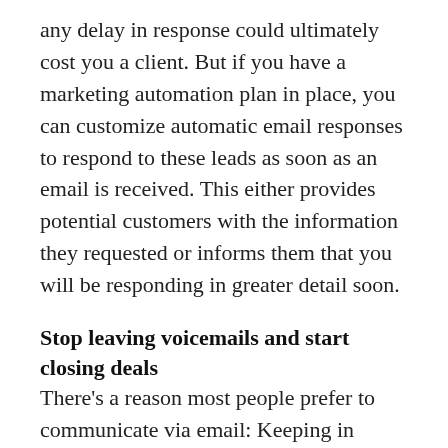any delay in response could ultimately cost you a client. But if you have a marketing automation plan in place, you can customize automatic email responses to respond to these leads as soon as an email is received. This either provides potential customers with the information they requested or informs them that you will be responding in greater detail soon.
Stop leaving voicemails and start closing deals
There's a reason most people prefer to communicate via email: Keeping in touch over the phone can be tough if both parties are always busy. An automated system solves this by logging when you've contacted leads and automatically emailing them about follow-up